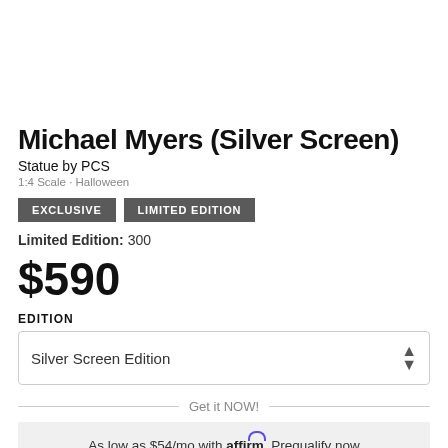[Figure (photo): Horizontal strip of 5 thumbnail dark/moody photos of Michael Myers statue with arrow on right]
Michael Myers (Silver Screen)
Statue by PCS
1:4 Scale · Halloween
EXCLUSIVE   LIMITED EDITION
Limited Edition: 300
$590
EDITION
Silver Screen Edition
Get it NOW!
As low as $54/mo with affirm. Prequalify now